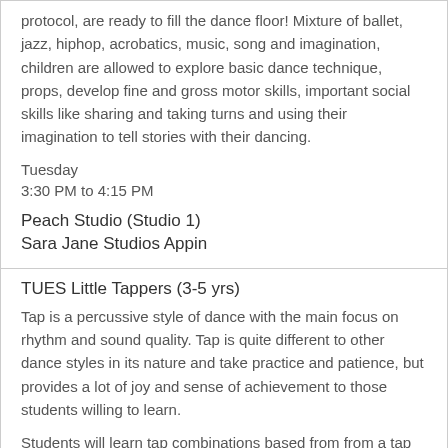protocol, are ready to fill the dance floor! Mixture of ballet, jazz, hiphop, acrobatics, music, song and imagination, children are allowed to explore basic dance technique, props, develop fine and gross motor skills, important social skills like sharing and taking turns and using their imagination to tell stories with their dancing.
Tuesday
3:30 PM to 4:15 PM
Peach Studio (Studio 1)
Sara Jane Studios Appin
TUES Little Tappers (3-5 yrs)
Tap is a percussive style of dance with the main focus on rhythm and sound quality. Tap is quite different to other dance styles in its nature and take practice and patience, but provides a lot of joy and sense of achievement to those students willing to learn.
Students will learn tap combinations based from from a tap syllabus in preparation for concert routines, while also being encouraged to create their own rhythms.
Tuesday
4:15 PM to 4:45 PM
Teal Studio (Studio 2)